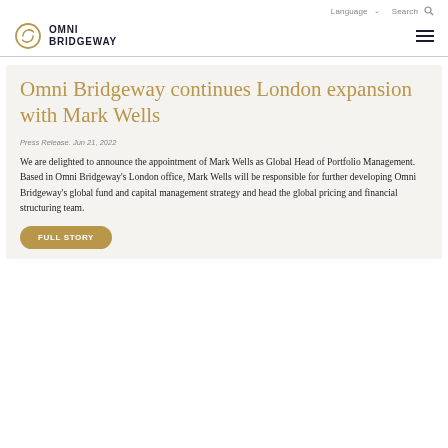Language  ∨  Search 🔍
OMNI BRIDGEWAY
Omni Bridgeway continues London expansion with Mark Wells
Press Release. Jun 21, 2022
We are delighted to announce the appointment of Mark Wells as Global Head of Portfolio Management. Based in Omni Bridgeway's London office, Mark Wells will be responsible for further developing Omni Bridgeway's global fund and capital management strategy and head the global pricing and financial structuring team.
FULL STORY